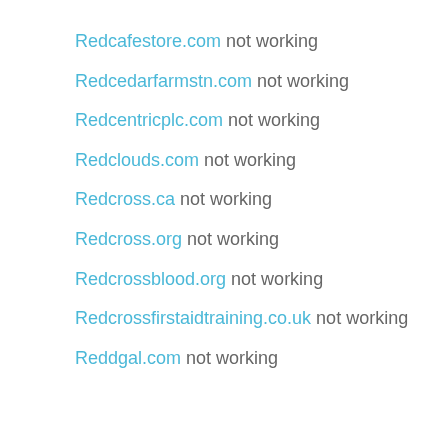Redcafestore.com not working
Redcedarfarmstn.com not working
Redcentricplc.com not working
Redclouds.com not working
Redcross.ca not working
Redcross.org not working
Redcrossblood.org not working
Redcrossfirstaidtraining.co.uk not working
Reddgal.com not working